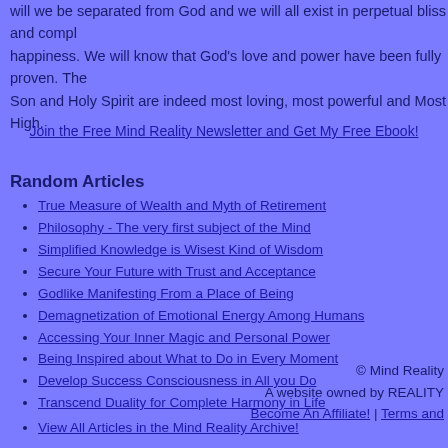will we be separated from God and we will all exist in perpetual bliss and compl happiness. We will know that God's love and power have been fully proven. The Son and Holy Spirit are indeed most loving, most powerful and Most High.
Join the Free Mind Reality Newsletter and Get My Free Ebook!
Random Articles
True Measure of Wealth and Myth of Retirement
Philosophy - The very first subject of the Mind
Simplified Knowledge is Wisest Kind of Wisdom
Secure Your Future with Trust and Acceptance
Godlike Manifesting From a Place of Being
Demagnetization of Emotional Energy Among Humans
Accessing Your Inner Magic and Personal Power
Being Inspired about What to Do in Every Moment
Develop Success Consciousness in All you Do
Transcend Duality for Complete Harmony in Life
View All Articles in the Mind Reality Archive!
© Mind Reality
A website owned by REALITY
Become An Affiliate! | Terms and